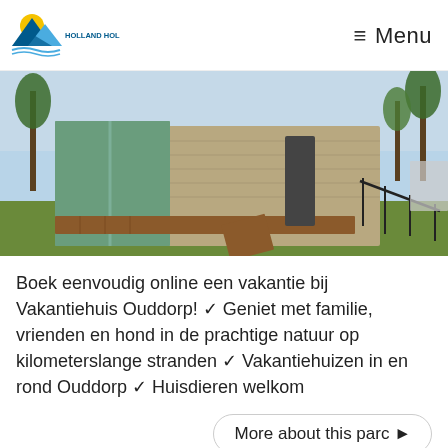[Figure (logo): Holland Holiday Parcs logo with mountains and sun graphic]
≡  Menu
[Figure (photo): Modern holiday home with stone facade, large glass sliding doors, wooden deck and steps, surrounded by greenery and trees]
Boek eenvoudig online een vakantie bij Vakantiehuis Ouddorp! ✓ Geniet met familie, vrienden en hond in de prachtige natuur op kilometerslange stranden ✓ Vakantiehuizen in en rond Ouddorp ✓ Huisdieren welkom
More about this parc ▶